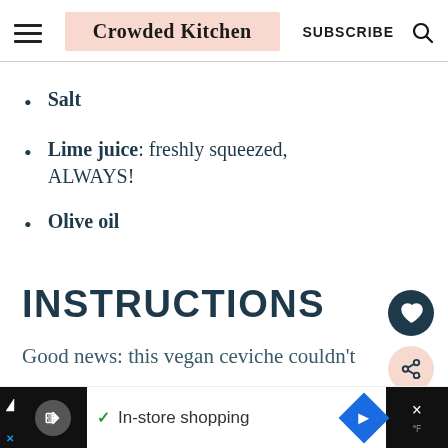Crowded Kitchen | SUBSCRIBE
Salt
Lime juice: freshly squeezed, ALWAYS!
Olive oil
INSTRUCTIONS
Good news: this vegan ceviche couldn't b…